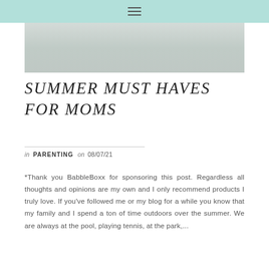≡
[Figure (photo): Hero image showing a person outdoors, partially visible, light tones]
SUMMER MUST HAVES FOR MOMS
in PARENTING on 08/07/21
*Thank you BabbleBoxx for sponsoring this post. Regardless all thoughts and opinions are my own and I only recommend products I truly love. If you've followed me or my blog for a while you know that my family and I spend a ton of time outdoors over the summer. We are always at the pool, playing tennis, at the park,...